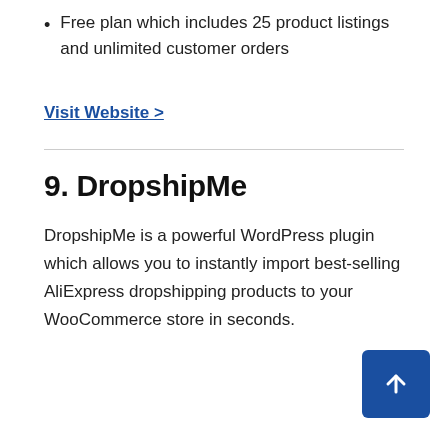Free plan which includes 25 product listings and unlimited customer orders
Visit Website >
9. DropshipMe
DropshipMe is a powerful WordPress plugin which allows you to instantly import best-selling AliExpress dropshipping products to your WooCommerce store in seconds.